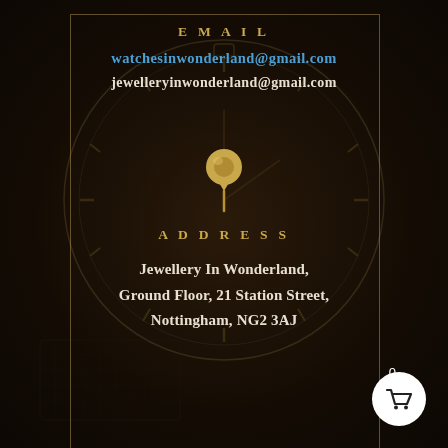EMAIL
watchesinwonderland@gmail.com
jewelleryinwonderland@gmail.com
[Figure (illustration): Gold pushpin/map pin icon]
ADDRESS
Jewellery In Wonderland,
Ground Floor, 21 Station Street,
Nottingham, NG2 3AJ